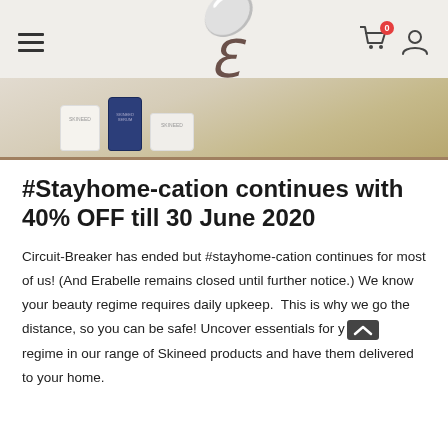ERABELLE
[Figure (photo): Product jars (white and dark blue) on a neutral sandy/wood surface background]
#Stayhome-cation continues with 40% OFF till 30 June 2020
Circuit-Breaker has ended but #stayhome-cation continues for most of us! (And Erabelle remains closed until further notice.) We know your beauty regime requires daily upkeep. This is why we go the distance, so you can be safe! Uncover essentials for your regime in our range of Skineed products and have them delivered to your home.